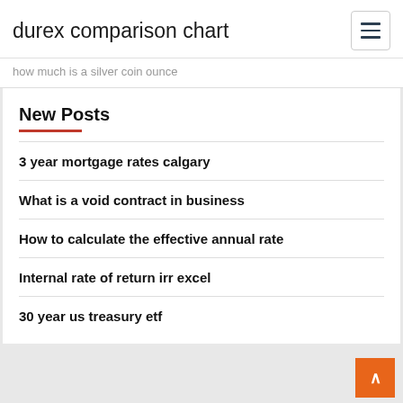durex comparison chart
how much is a silver coin ounce
New Posts
3 year mortgage rates calgary
What is a void contract in business
How to calculate the effective annual rate
Internal rate of return irr excel
30 year us treasury etf